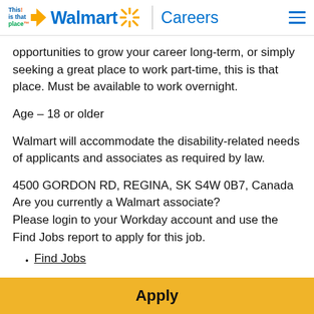This is that place | Walmart Careers
opportunities to grow your career long-term, or simply seeking a great place to work part-time, this is that place. Must be available to work overnight.
Age – 18 or older
Walmart will accommodate the disability-related needs of applicants and associates as required by law.
4500 GORDON RD, REGINA, SK S4W 0B7, Canada
Are you currently a Walmart associate?
Please login to your Workday account and use the Find Jobs report to apply for this job.
Find Jobs
Apply